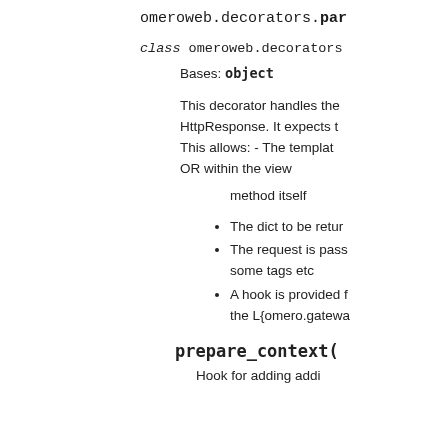omeroweb.decorators.par
class omeroweb.decorators
Bases: object
This decorator handles the HttpResponse. It expects t This allows: - The template OR within the view
method itself
The dict to be retur
The request is pass some tags etc
A hook is provided f the L{omero.gatewa
prepare_context(
Hook for adding addi